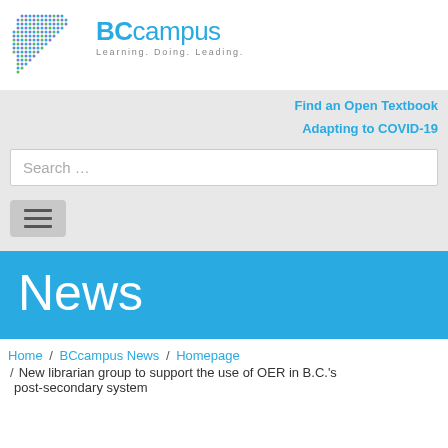[Figure (logo): BCcampus logo with dotted map graphic and tagline 'Learning. Doing. Leading.']
Find an Open Textbook
Adapting to COVID-19
Search …
News
Home / BCcampus News / Homepage / New librarian group to support the use of OER in B.C.'s post-secondary system